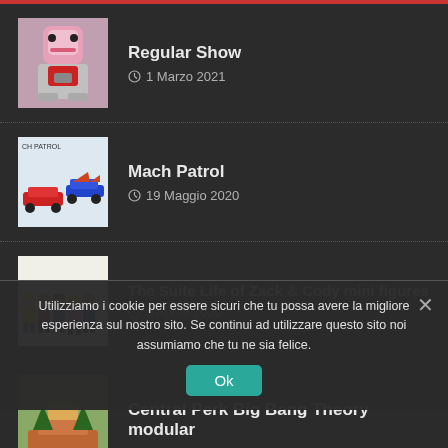Regular Show
1 Marzo 2021
Mach Patrol
19 Maggio 2020
The Suite Life of Zack & Cody mini figures
6 Aprile 2020
Utilizziamo i cookie per essere sicuri che tu possa avere la migliore esperienza sul nostro sito. Se continui ad utilizzare questo sito noi assumiamo che tu ne sia felice.
Central Perk Big Bang Theory modular